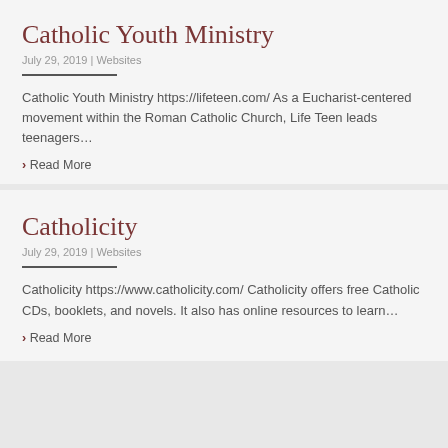Catholic Youth Ministry
July 29, 2019 | Websites
Catholic Youth Ministry https://lifeteen.com/ As a Eucharist-centered movement within the Roman Catholic Church, Life Teen leads teenagers…
› Read More
Catholicity
July 29, 2019 | Websites
Catholicity https://www.catholicity.com/ Catholicity offers free Catholic CDs, booklets, and novels. It also has online resources to learn…
› Read More